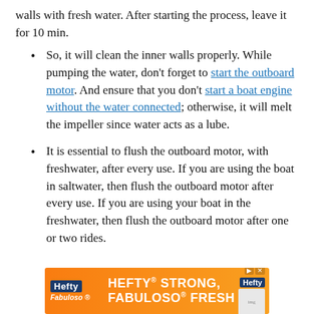walls with fresh water. After starting the process, leave it for 10 min.
So, it will clean the inner walls properly. While pumping the water, don't forget to start the outboard motor. And ensure that you don't start a boat engine without the water connected; otherwise, it will melt the impeller since water acts as a lube.
It is essential to flush the outboard motor, with freshwater, after every use. If you are using the boat in saltwater, then flush the outboard motor after every use. If you are using your boat in the freshwater, then flush the outboard motor after one or two rides.
[Figure (infographic): Hefty STRONG, FABULOSO FRESH advertisement banner with orange background, Hefty logo, Fabuloso logo, and product image.]